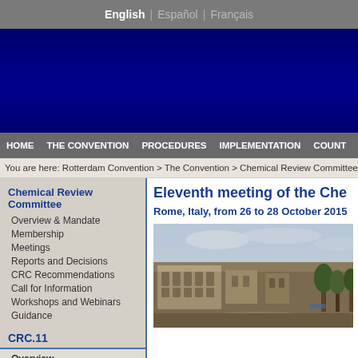English | Español | Français
[Figure (other): Dark blue banner header for Rotterdam Convention website]
HOME | THE CONVENTION | PROCEDURES | IMPLEMENTATION | COUNT...
You are here: Rotterdam Convention > The Convention > Chemical Review Committee > ...
Chemical Review Committee
Overview & Mandate
Membership
Meetings
Reports and Decisions
CRC Recommendations
Call for Information
Workshops and Webinars
Guidance
CRC.11
Overview
Meeting Documents
Information for Participants
Eleventh meeting of the Che...
Rome, Italy, from 26 to 28 October 2015
[Figure (photo): Aerial/elevated photograph of Rome, Italy showing ancient ruins and cityscape]